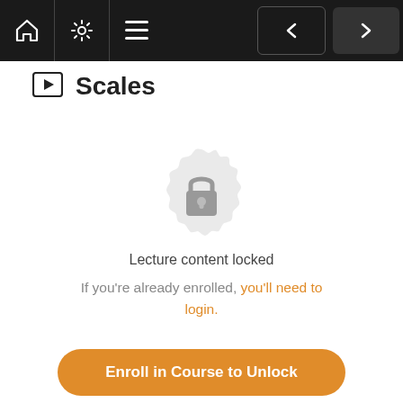[Figure (screenshot): Navigation bar with home, settings, hamburger menu icons and left/right navigation buttons on dark background]
Scales
[Figure (illustration): Locked rosette/badge icon with a padlock in the center, indicating locked lecture content]
Lecture content locked
If you're already enrolled, you'll need to login.
Enroll in Course to Unlock